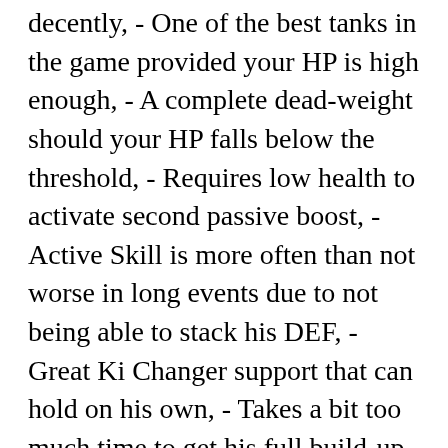decently, - One of the best tanks in the game provided your HP is high enough, - A complete dead-weight should your HP falls below the threshold, - Requires low health to activate second passive boost, - Active Skill is more often than not worse in long events due to not being able to stack his DEF, - Great Ki Changer support that can hold on his own, - Takes a bit too much time to get his full build-up, - Provides the additional boost for Super Saiyan 2 Gohan's passive, - Completely outclassed by his TEQ and STR counterpart, - Ineffective in events facing only one enemy, - Completely outclassed by her AGL EZA counterpart, - Gives the secondary boost for Super Saiyan 2 Gohan's passive, - Unconditional +2 Ki and